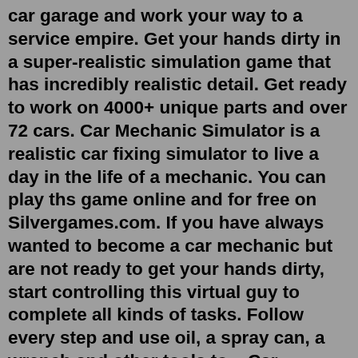car garage and work your way to a service empire. Get your hands dirty in a super-realistic simulation game that has incredibly realistic detail. Get ready to work on 4000+ unique parts and over 72 cars. Car Mechanic Simulator is a realistic car fixing simulator to live a day in the life of a mechanic. You can play ths game online and for free on Silvergames.com. If you have always wanted to become a car mechanic but are not ready to get your hands dirty, start controlling this virtual guy to complete all kinds of tasks. Follow every step and use oil, a spray can, a wrench and other tools to ...Car Mechanic Simulator, Maximum Games, Xbox One, 816819015049. Huge Collection of Cars: Work on a variety of makes and models, with over 40 cars to get your hands dirty and multilevel car parking to store your rides; Tools and Parts: A garage of 10+ tools and 1000+ parts await you. A paint shop allows you to finish off your car just as you wishRun the x360ce_x64.exe application in the Car Mechanic Simulator 2021 folder. Click on the Create